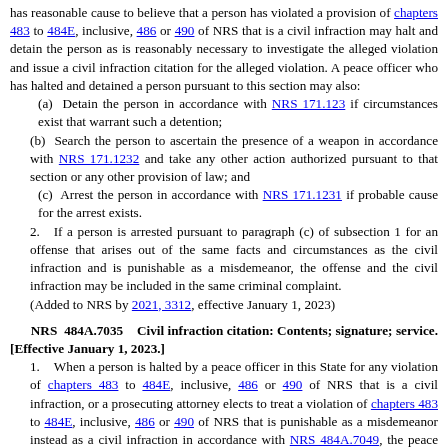has reasonable cause to believe that a person has violated a provision of chapters 483 to 484E, inclusive, 486 or 490 of NRS that is a civil infraction may halt and detain the person as is reasonably necessary to investigate the alleged violation and issue a civil infraction citation for the alleged violation. A peace officer who has halted and detained a person pursuant to this section may also:
(a) Detain the person in accordance with NRS 171.123 if circumstances exist that warrant such a detention;
(b) Search the person to ascertain the presence of a weapon in accordance with NRS 171.1232 and take any other action authorized pursuant to that section or any other provision of law; and
(c) Arrest the person in accordance with NRS 171.1231 if probable cause for the arrest exists.
2. If a person is arrested pursuant to paragraph (c) of subsection 1 for an offense that arises out of the same facts and circumstances as the civil infraction and is punishable as a misdemeanor, the offense and the civil infraction may be included in the same criminal complaint.
(Added to NRS by 2021, 3312, effective January 1, 2023)
NRS 484A.7035 Civil infraction citation: Contents; signature; service. [Effective January 1, 2023.]
1. When a person is halted by a peace officer in this State for any violation of chapters 483 to 484E, inclusive, 486 or 490 of NRS that is a civil infraction, or a prosecuting attorney elects to treat a violation of chapters 483 to 484E, inclusive, 486 or 490 of NRS that is punishable as a misdemeanor instead as a civil infraction in accordance with NRS 484A.7049, the peace officer or prosecuting attorney, as applicable, may prepare a civil infraction citation manually or electronically in the form of a complaint issuing in the name of "The State of Nevada," containing, except as otherwise provided in paragraph (a) of subsection 2 of NRS 484A.7049:
(a) A statement that the citation represents a determination by a peace officer or prosecuting attorney that a civil infraction has been committed by the person named in the citation and that the determination will be final unless contested as provided in NRS 484A.703 to 484A.705, inclusive;
(b) A statement that a civil infraction is not a criminal offense;